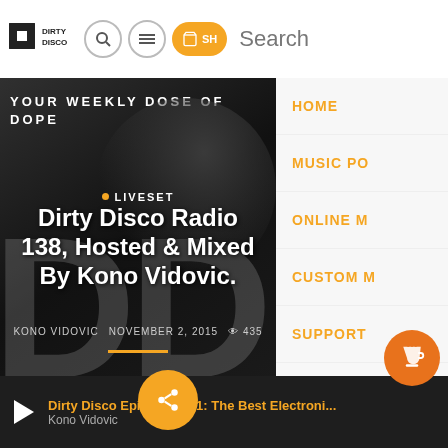Dirty Disco — Header navigation with logo, search, menu, cart icons and Search text
[Figure (screenshot): Dark background hero image of a DJ with headphones, large 'DDR' text watermark, showing article preview for Dirty Disco Radio 138]
YOUR WEEKLY DOSE OF DOPE
LIVESET
Dirty Disco Radio 138, Hosted & Mixed By Kono Vidovic.
KONO VIDOVIC   NOVEMBER 2, 2015   435
HOME
MUSIC PO
ONLINE M
CUSTOM M
SUPPORT
SUBSCRIB
Dirty Disco Episode #471: The Best Electroni... Kono Vidovic